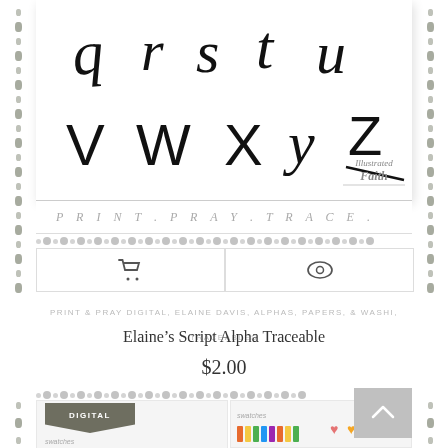[Figure (illustration): Handwritten script alphabet letters q r s t u v w x y z in black ink on white background]
PRINT.PRAY.TRACE.
[Figure (logo): Illustrated Faith handwritten logo stamp]
PRINT & PRAY DIGITAL, ELAINE DAVIS, ALPHAS, PAPERS, & WASHI, TRACEABLES
Elaine’s Script Alpha Traceable
$2.00
[Figure (illustration): Digital product thumbnail showing color swatches worksheet]
[Figure (illustration): Digital product thumbnail showing art supplies and heart shapes]